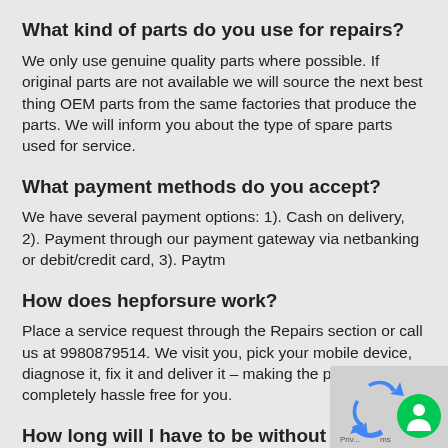What kind of parts do you use for repairs?
We only use genuine quality parts where possible. If original parts are not available we will source the next best thing OEM parts from the same factories that produce the parts. We will inform you about the type of spare parts used for service.
What payment methods do you accept?
We have several payment options: 1). Cash on delivery, 2). Payment through our payment gateway via netbanking or debit/credit card, 3). Paytm
How does hepforsure work?
Place a service request through the Repairs section or call us at 9980879514. We visit you, pick your mobile device, diagnose it, fix it and deliver it – making the process completely hassle free for you.
How long will I have to be without my Mobile Phone while it's being repaired by Mobile Rep Centre?
[Figure (logo): Google reCAPTCHA / privacy badge icon in bottom right corner]